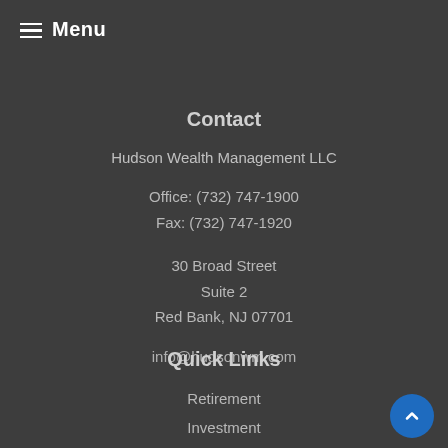Menu
Contact
Hudson Wealth Management LLC
Office:  (732) 747-1900
Fax:  (732) 747-1920
30 Broad Street
Suite 2
Red Bank, NJ 07701
info@hudsonwm.com
Quick Links
Retirement
Investment